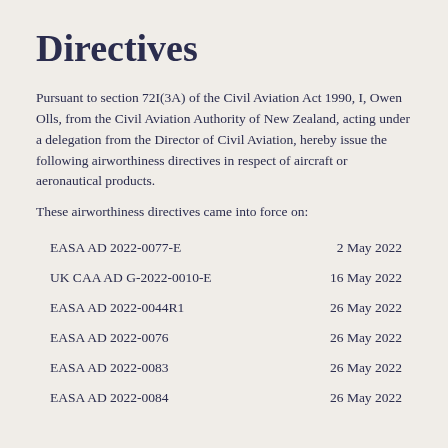Directives
Pursuant to section 72I(3A) of the Civil Aviation Act 1990, I, Owen Olls, from the Civil Aviation Authority of New Zealand, acting under a delegation from the Director of Civil Aviation, hereby issue the following airworthiness directives in respect of aircraft or aeronautical products.
These airworthiness directives came into force on:
| Directive | Date |
| --- | --- |
| EASA AD 2022-0077-E | 2 May 2022 |
| UK CAA AD G-2022-0010-E | 16 May 2022 |
| EASA AD 2022-0044R1 | 26 May 2022 |
| EASA AD 2022-0076 | 26 May 2022 |
| EASA AD 2022-0083 | 26 May 2022 |
| EASA AD 2022-0084 | 26 May 2022 |